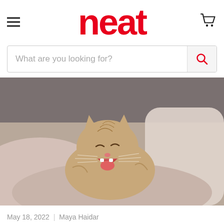neat
What are you looking for?
[Figure (photo): A tabby cat yawning with mouth wide open, lying among soft pillows and blankets]
May 18, 2022 | Maya Haidar